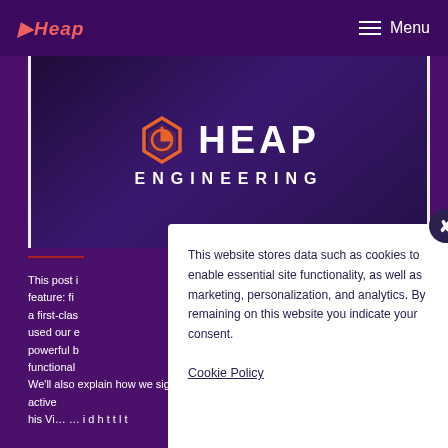Heap | Menu
[Figure (logo): Heap Engineering logo with orange hexagon icon and white text 'HEAP ENGINEERING' on dark purple background]
This post is about a Heap feature: first-class a first-class used our e powerful b functional We'll also explain how we signal and control active
This website stores data such as cookies to enable essential site functionality, as well as marketing, personalization, and analytics. By remaining on this website you indicate your consent.
Cookie Policy